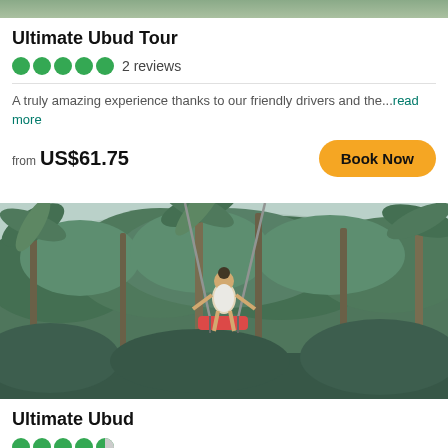[Figure (photo): Top of photo strip from previous card, showing tropical background]
Ultimate Ubud Tour
5 stars  2 reviews
A truly amazing experience thanks to our friendly drivers and the...read more
from US$61.75
Book Now
[Figure (photo): Person on a jungle swing high above tropical forest canopy with coconut palm trees in Bali/Ubud]
Ultimate Ubud
Stars and reviews row (partial, cut off)